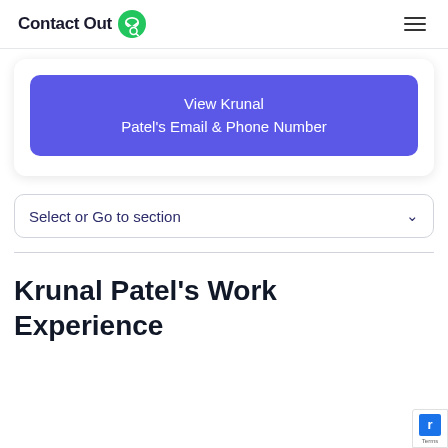ContactOut
View Krunal Patel's Email & Phone Number
Select or Go to section
Krunal Patel's Work Experience